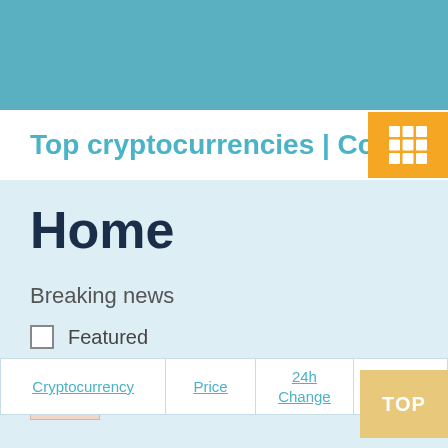Top cryptocurrencies | Coin[pa
Home
Breaking news
Featured
| Cryptocurrency | Price | 24h Change | 24h Cha |
| --- | --- | --- | --- |